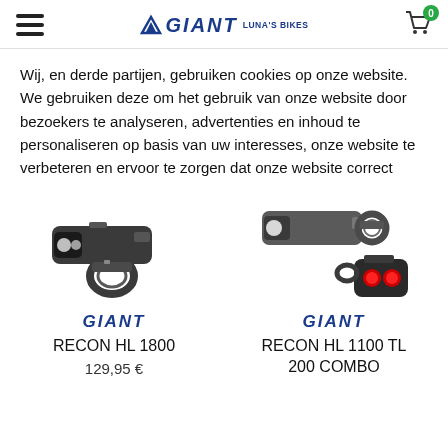GIANT LUNA'S BIKES — navigation header with hamburger menu and cart (0 items)
Wij, en derde partijen, gebruiken cookies op onze website. We gebruiken deze om het gebruik van onze website door bezoekers te analyseren, advertenties en inhoud te personaliseren op basis van uw interesses, onze website te verbeteren en ervoor te zorgen dat onze website correct
[Figure (photo): Bicycle front light product image: RECON HL 1800, dark/black unit with handlebar mount]
GIANT
RECON HL 1800
129,95 €
[Figure (photo): Bicycle front + rear light combo product image: RECON HL 1100 TL 200 COMBO, grey front light and red rear light with mount]
GIANT
RECON HL 1100 TL 200 COMBO